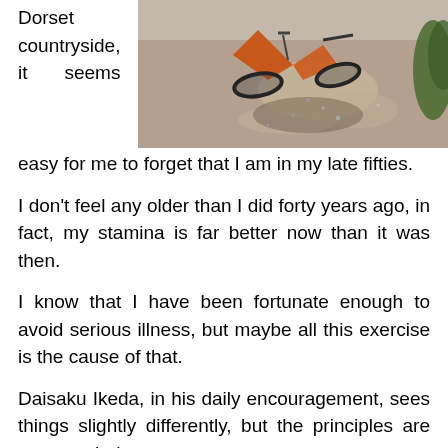[Figure (photo): Aerial/overhead photo of a mountain bike on a dirt trail, orange frame visible, shadow cast on gravel path with green vegetation at edge]
Dorset countryside, it seems easy for me to forget that I am in my late fifties.
I don't feel any older than I did forty years ago, in fact, my stamina is far better now than it was then.
I know that I have been fortunate enough to avoid serious illness, but maybe all this exercise is the cause of that.
Daisaku Ikeda, in his daily encouragement, sees things slightly differently, but the principles are very much the same …
In the twinkling of an eye we grow old. Our physical strength wanes and we begin to suffer various aches and pains…